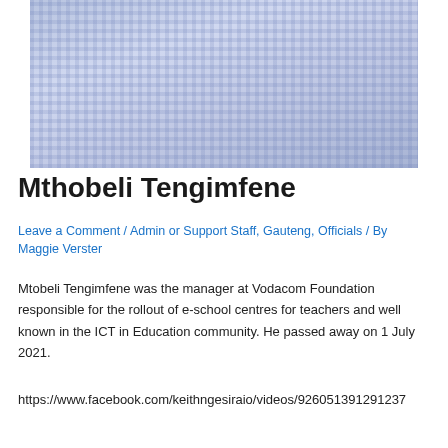[Figure (photo): Photo of Mthobeli Tengimfene, a man wearing a blue and white gingham check shirt, photographed from the torso up against a white background.]
Mthobeli Tengimfene
Leave a Comment / Admin or Support Staff, Gauteng, Officials / By Maggie Verster
Mtobeli Tengimfene was the manager at Vodacom Foundation responsible for the rollout of e-school centres for teachers and well known in the ICT in Education community. He passed away on 1 July 2021.
https://www.facebook.com/keithngesiraio/videos/926051391291237